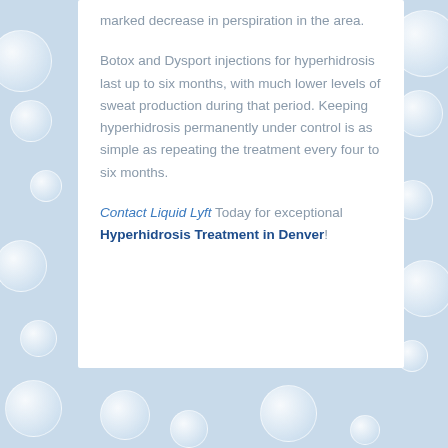marked decrease in perspiration in the area.
Botox and Dysport injections for hyperhidrosis last up to six months, with much lower levels of sweat production during that period. Keeping hyperhidrosis permanently under control is as simple as repeating the treatment every four to six months.
Contact Liquid Lyft Today for exceptional Hyperhidrosis Treatment in Denver!